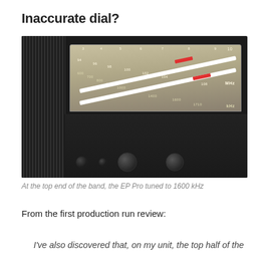Inaccurate dial?
[Figure (photo): Close-up photograph of a vintage radio (CCRANE brand) showing the AM/FM frequency dial with white and red indicator lines. The dial shows FM MHz frequencies (94, 96, 98, 100, 102, 104, 106, 108 MHz) and AM kHz frequencies (600, 700, 800, 900, 1000, 1200, 1400, 1600, 1710 kHz). The radio has a large speaker grille on the left and tuning knobs at the bottom.]
At the top end of the band, the EP Pro tuned to 1600 kHz
From the first production run review:
I've also discovered that, on my unit, the top half of the